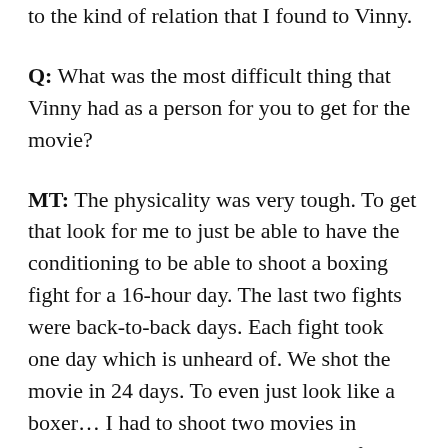to the kind of relation that I found to Vinny.
Q: What was the most difficult thing that Vinny had as a person for you to get for the movie?
MT: The physicality was very tough. To get that look for me to just be able to have the conditioning to be able to shoot a boxing fight for a 16-hour day. The last two fights were back-to-back days. Each fight took one day which is unheard of. We shot the movie in 24 days. To even just look like a boxer... I had to shoot two movies in between, but that was eight months of just a very strict diet and working out. I lost 20 pounds and got down to 6% body fat for the first fight, but Vinny also